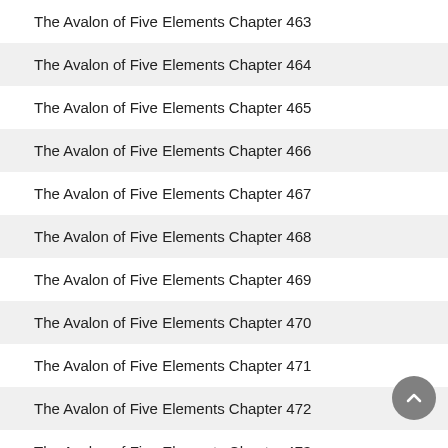The Avalon of Five Elements Chapter 463
The Avalon of Five Elements Chapter 464
The Avalon of Five Elements Chapter 465
The Avalon of Five Elements Chapter 466
The Avalon of Five Elements Chapter 467
The Avalon of Five Elements Chapter 468
The Avalon of Five Elements Chapter 469
The Avalon of Five Elements Chapter 470
The Avalon of Five Elements Chapter 471
The Avalon of Five Elements Chapter 472
The Avalon of Five Elements Chapter 473